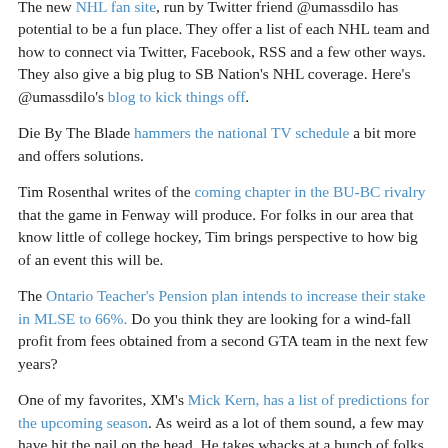The new NHL fan site, run by Twitter friend @umassdilo has potential to be a fun place. They offer a list of each NHL team and how to connect via Twitter, Facebook, RSS and a few other ways. They also give a big plug to SB Nation's NHL coverage. Here's @umassdilo's blog to kick things off.
Die By The Blade hammers the national TV schedule a bit more and offers solutions.
Tim Rosenthal writes of the coming chapter in the BU-BC rivalry that the game in Fenway will produce. For folks in our area that know little of college hockey, Tim brings perspective to how big of an event this will be.
The Ontario Teacher's Pension plan intends to increase their stake in MLSE to 66%. Do you think they are looking for a wind-fall profit from fees obtained from a second GTA team in the next few years?
One of my favorites, XM's Mick Kern, has a list of predictions for the upcoming season. As weird as a lot of them sound, a few may have hit the nail on the head. He takes whacks at a bunch of folks, and it gets his juices flowing.